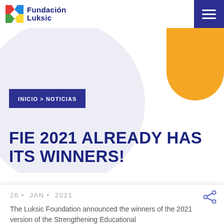Fundación Luksic
[Figure (logo): Fundación Luksic logo with colorful X mark and blue text]
[Figure (illustration): Large light grey circle decorative background element with gold half-circle in top right corner]
INICIO > NOTICIAS
FIE 2021 ALREADY HAS ITS WINNERS!
26 • JAN • 2021
The Luksic Foundation announced the winners of the 2021 version of the Strengthening Educational